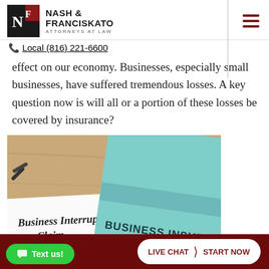NASH & FRANCISKATO ATTORNEYS AT LAW
Local (816) 221-6600
effect on our economy. Businesses, especially small businesses, have suffered tremendous losses. A key question now is will all or a portion of these losses be covered by insurance?
[Figure (photo): Photo of a Business Interruption Claim form next to a teal Business Insurance binder with paper clips, on a wooden desk.]
Text us! | LIVE CHAT | START NOW